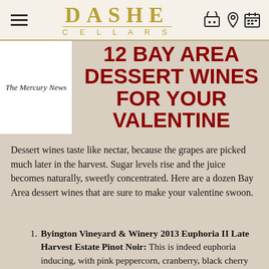DASHE CELLARS
[Figure (logo): The Mercury News logo in blackletter font]
12 BAY AREA DESSERT WINES FOR YOUR VALENTINE
Dessert wines taste like nectar, because the grapes are picked much later in the harvest. Sugar levels rise and the juice becomes naturally, sweetly concentrated. Here are a dozen Bay Area dessert wines that are sure to make your valentine swoon.
Byington Vineyard & Winery 2013 Euphoria II Late Harvest Estate Pinot Noir: This is indeed euphoria inducing, with pink peppercorn, cranberry, black cherry and raspberry fruit, chocolate and toasted almond.